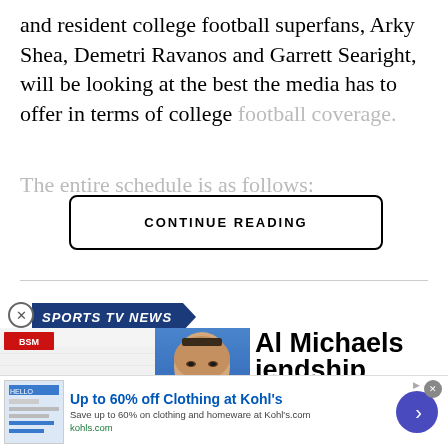and resident college football superfans, Arky Shea, Demetri Ravanos and Garrett Searight, will be looking at the best the media has to offer in terms of college football coverage.
The entire schedule is as follows:
CONTINUE READING
SPORTS TV NEWS
[Figure (screenshot): The Jason Barrett Podcast logo with BSM branding]
[Figure (photo): Paul Finebaum headshot with overlay text: PAUL FINEBAUM KNOWS THE POWER]
Al Michaels iendship
ad for me was that I had to go out
[Figure (screenshot): Advertisement: Up to 60% off Clothing at Kohl's. Save up to 60% on clothing and homeware at Kohl's.com. kohls.com]